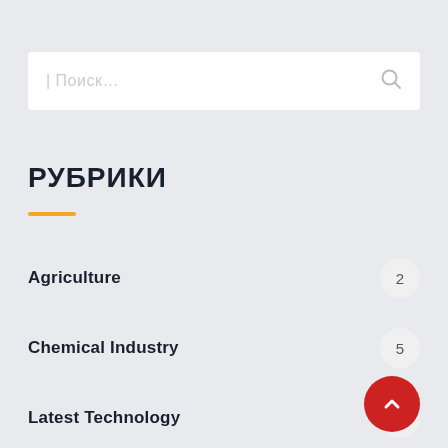Поиск…
РУБРИКИ
Agriculture  2
Chemical Industry  5
Latest Technology  3
Manufacturing  3
Uncategorized